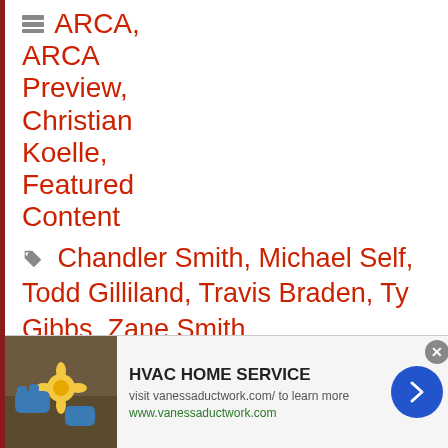ARCA, ARCA Preview, Christian Koelle, Featured Content
Chandler Smith, Michael Self, Todd Gilliland, Travis Braden, Ty Gibbs, Zane Smith
< Truckin’ Thursdays: Johnny Sauter, Todd Gilliland Among 4 Drivers to Watch at Dover
[Figure (other): HVAC Home Service advertisement banner with photo of gardening/planting hands, text: HVAC HOME SERVICE, visit vanessaductwork.com/ to learn more, www.vanessaductwork.com]